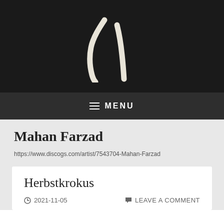[Figure (logo): Stylized handwritten 'h' logo in cream/off-white color on black background]
≡ MENU
Mahan Farzad
https://www.discogs.com/artist/7543704-Mahan-Farzad
Herbstkrokus
2021-11-05   LEAVE A COMMENT